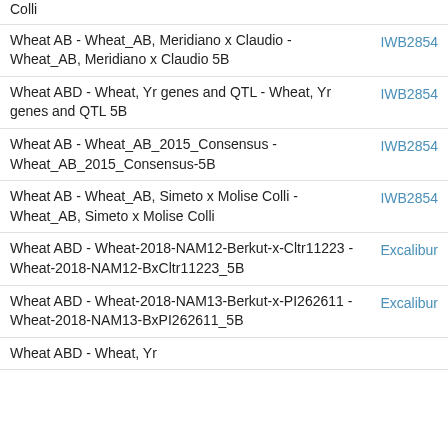| Map Name | Marker |
| --- | --- |
| Colli |  |
| Wheat AB - Wheat_AB, Meridiano x Claudio - Wheat_AB, Meridiano x Claudio 5B | IWB2854 |
| Wheat ABD - Wheat, Yr genes and QTL - Wheat, Yr genes and QTL 5B | IWB2854 |
| Wheat AB - Wheat_AB_2015_Consensus - Wheat_AB_2015_Consensus-5B | IWB2854 |
| Wheat AB - Wheat_AB, Simeto x Molise Colli - Wheat_AB, Simeto x Molise Colli | IWB2854 |
| Wheat ABD - Wheat-2018-NAM12-Berkut-x-Cltr11223 - Wheat-2018-NAM12-BxCltr11223_5B | Excalibur |
| Wheat ABD - Wheat-2018-NAM13-Berkut-x-PI262611 - Wheat-2018-NAM13-BxPI262611_5B | Excalibur |
| Wheat ABD - Wheat, Yr genes and QTL 5B (partial) |  |